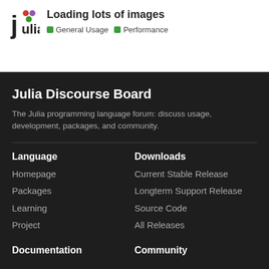Loading lots of images — General Usage, Performance
Julia Discourse Board
The Julia programming language forum: discuss usage, development, packages, and community.
Language
Homepage
Packages
Learning
Project
Downloads
Current Stable Release
Longterm Support Release
Source Code
All Releases
Documentation
Community